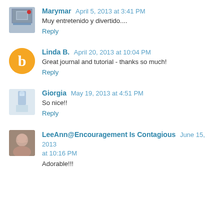Marymar April 5, 2013 at 3:41 PM
Muy entretenido y divertido....
Reply
Linda B. April 20, 2013 at 10:04 PM
Great journal and tutorial - thanks so much!
Reply
Giorgia May 19, 2013 at 4:51 PM
So nice!!
Reply
LeeAnn@Encouragement Is Contagious June 15, 2013 at 10:16 PM
Adorable!!!